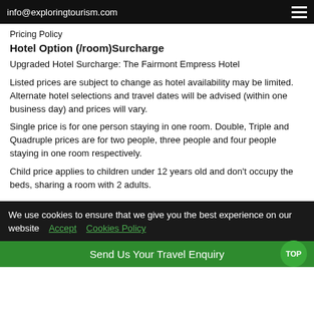info@exploringtourism.com
Pricing Policy
Hotel Option (/room)Surcharge
Upgraded Hotel Surcharge: The Fairmont Empress Hotel
Listed prices are subject to change as hotel availability may be limited. Alternate hotel selections and travel dates will be advised (within one business day) and prices will vary.
Single price is for one person staying in one room. Double, Triple and Quadruple prices are for two people, three people and four people staying in one room respectively.
Child price applies to children under 12 years old and don't occupy the beds, sharing a room with 2 adults.
We use cookies to ensure that we give you the best experience on our website  Accept  Cookies Policy
Send Us Your Travel Enquiry